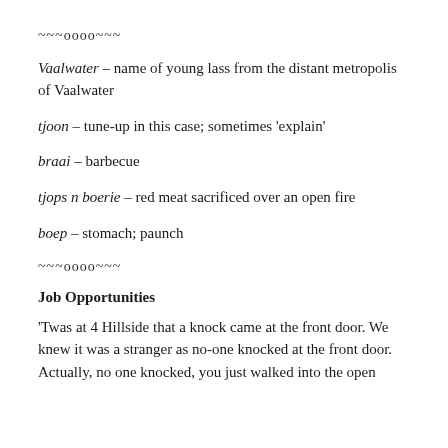~~~oooo~~~
Vaalwater – name of young lass from the distant metropolis of Vaalwater
tjoon – tune-up in this case; sometimes 'explain'
braai – barbecue
tjops n boerie – red meat sacrificed over an open fire
boep – stomach; paunch
~~~oooo~~~
Job Opportunities
'Twas at 4 Hillside that a knock came at the front door. We knew it was a stranger as no-one knocked at the front door. Actually, no one knocked, you just walked into the open